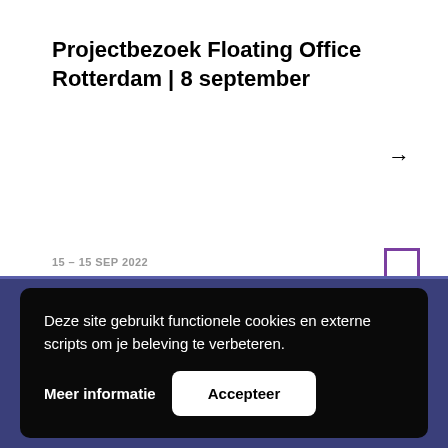Projectbezoek Floating Office Rotterdam | 8 september
→
15 – 15 SEP 2022
Deze site gebruikt functionele cookies en externe scripts om je beleving te verbeteren.
Meer informatie
Accepteer